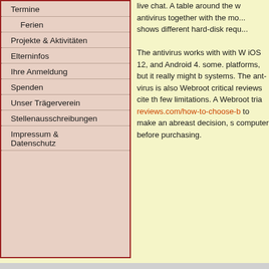Termine
Ferien
Projekte & Aktivitäten
Elterninfos
Ihre Anmeldung
Spenden
Unser Trägerverein
Stellenausschreibungen
Impressum & Datenschutz
live chat. A table around the antivirus together with the mo... shows different hard-disk requ... The antivirus works with with Windows, iOS 12, and Android 4. some. platforms, but it really might be systems. The ant-virus is also Webroot critical reviews cite the few limitations. A Webroot tria... reviews.com/how-to-choose-b... to make an abreast decision, s... computer before purchasing.